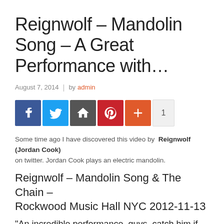Reignwolf – Mandolin Song – A Great Performance with…
August 7, 2014  |  by admin
[Figure (other): Social sharing buttons: Facebook, Twitter, Google+, Pinterest, More (+), count badge showing 1]
Some time ago I have discovered this video by Reignwolf (Jordan Cook) on twitter. Jordan Cook plays an electric mandolin.
Reignwolf – Mandolin Song & The Chain – Rockwood Music Hall NYC 2012-11-13
"An incredible performance, guys, catch him if he's playing anywhere near you. Loved that